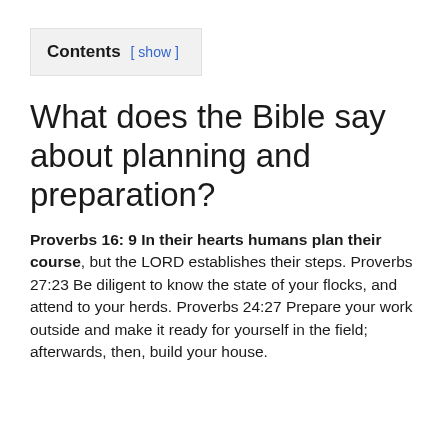Contents [ show ]
What does the Bible say about planning and preparation?
Proverbs 16: 9 In their hearts humans plan their course, but the LORD establishes their steps. Proverbs 27:23 Be diligent to know the state of your flocks, and attend to your herds. Proverbs 24:27 Prepare your work outside and make it ready for yourself in the field; afterwards, then, build your house.